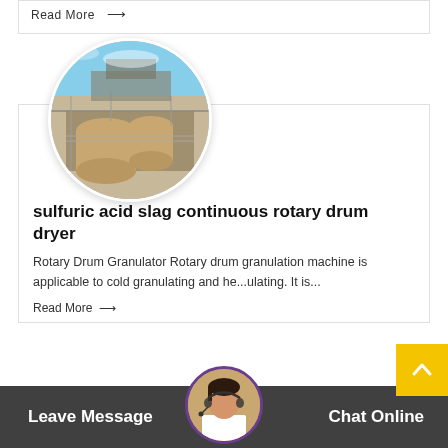Read More →
[Figure (photo): Circular cropped photo of an industrial rotary drum dryer facility with large cylindrical drums and industrial scaffolding under a blue sky.]
sulfuric acid slag continuous rotary drum dryer
Rotary Drum Granulator Rotary drum granulation machine is applicable to cold granulating and he...ulating. It is...
Read More →
Leave Message
Chat Online